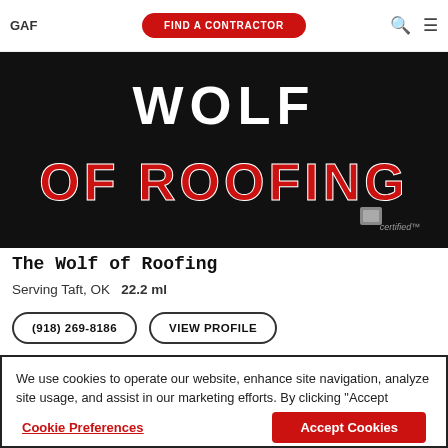GAF | FIND A CONTRACTOR
[Figure (photo): Hero banner image for The Wolf of Roofing contractor with large text 'OF ROOFING' in red on black background and certified badge]
The Wolf of Roofing
Serving Taft, OK   22.2 ml
(918) 269-8186   VIEW PROFILE
We use cookies to operate our website, enhance site navigation, analyze site usage, and assist in our marketing efforts. By clicking "Accept Cookies," you agree to this use. For more information please visit our Cookie Notice.
Cookie Preferences   Accept Cookies